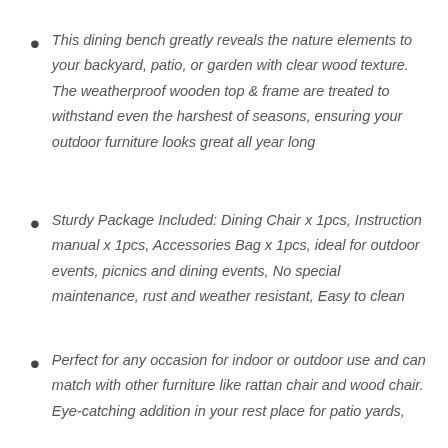This dining bench greatly reveals the nature elements to your backyard, patio, or garden with clear wood texture. The weatherproof wooden top & frame are treated to withstand even the harshest of seasons, ensuring your outdoor furniture looks great all year long
Sturdy Package Included: Dining Chair x 1pcs, Instruction manual x 1pcs, Accessories Bag x 1pcs, ideal for outdoor events, picnics and dining events, No special maintenance, rust and weather resistant, Easy to clean
Perfect for any occasion for indoor or outdoor use and can match with other furniture like rattan chair and wood chair. Eye-catching addition in your rest place for patio yards,